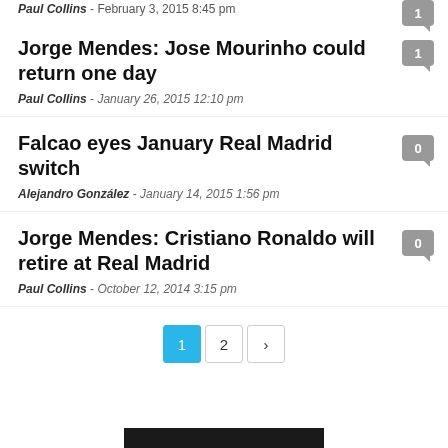Paul Collins - February 3, 2015 8:45 pm
Jorge Mendes: Jose Mourinho could return one day
Paul Collins - January 26, 2015 12:10 pm
Falcao eyes January Real Madrid switch
Alejandro González - January 14, 2015 1:56 pm
Jorge Mendes: Cristiano Ronaldo will retire at Real Madrid
Paul Collins - October 12, 2014 3:15 pm
1
2
>